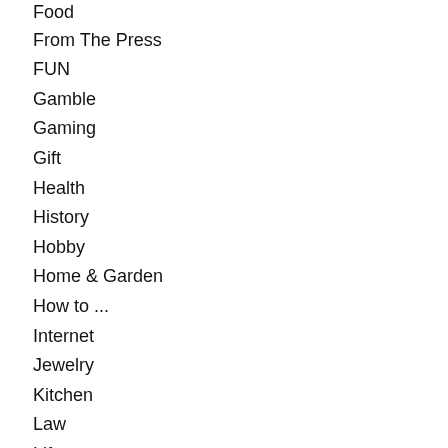Food
From The Press
FUN
Gamble
Gaming
Gift
Health
History
Hobby
Home & Garden
How to ...
Internet
Jewelry
Kitchen
Law
Life